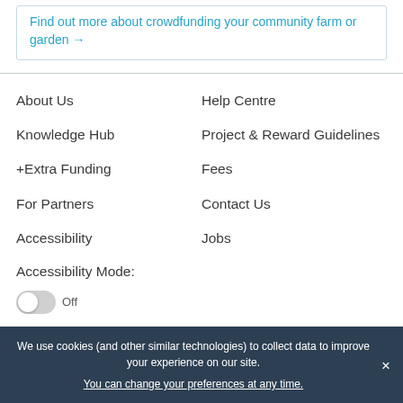Find out more about crowdfunding your community farm or garden →
About Us
Knowledge Hub
+Extra Funding
For Partners
Accessibility
Accessibility Mode:
Help Centre
Project & Reward Guidelines
Fees
Contact Us
Jobs
We use cookies (and other similar technologies) to collect data to improve your experience on our site. You can change your preferences at any time.